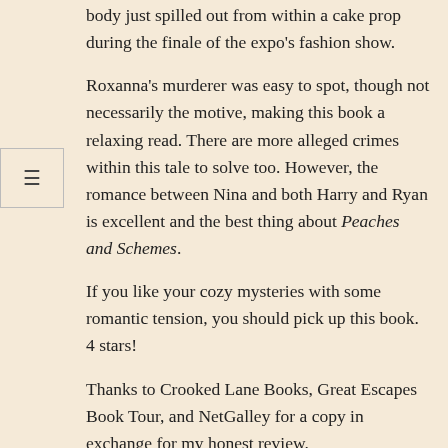body just spilled out from within a cake prop during the finale of the expo's fashion show.
Roxanna's murderer was easy to spot, though not necessarily the motive, making this book a relaxing read. There are more alleged crimes within this tale to solve too. However, the romance between Nina and both Harry and Ryan is excellent and the best thing about Peaches and Schemes.
If you like your cozy mysteries with some romantic tension, you should pick up this book. 4 stars!
Thanks to Crooked Lane Books, Great Escapes Book Tour, and NetGalley for a copy in exchange for my honest review.
About Peaches and Schemes
[Figure (photo): Book cover image showing 'Peaches and Schemes' with text overlay reading EXCELLENT CHARACTERS [AND] GREAT FUN]